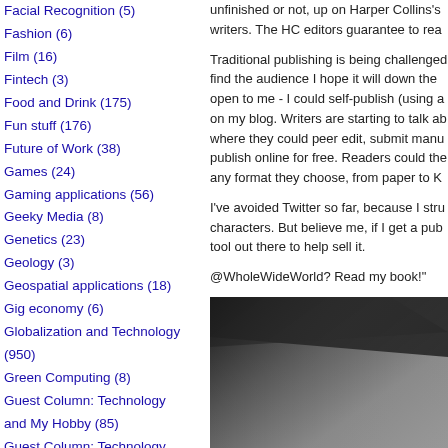Facial Recognition (5)
Fashion (6)
Film (16)
Fintech (3)
Food and Drink (175)
Fun stuff (176)
Future of Work (38)
Games (24)
Gaming applications (56)
Geeky Media (8)
Genetics (23)
Geology (3)
Geospatial applications (18)
Gig economy (6)
Globalization and Technology (950)
Green Computing (8)
Guest Column: Technology and My Hobby (85)
Guest Column: Technology and My Hobby (156)
unfinished or not, up on Harper Collins’ s writers. The HC editors guarantee to rea
Traditional publishing is being challenged find the audience I hope it will down the open to me - I could self-publish (using a on my blog. Writers are starting to talk ab where they could peer edit, submit manu publish online for free. Readers could the any format they choose, from paper to K
I’ve avoided Twitter so far, because I stru characters. But believe me, if I get a pub tool out there to help sell it.
@WholeWideWorld? Read my book!”
[Figure (photo): Close-up photo of a laptop keyboard/device shown at an angle against a dark background, grayscale tones.]